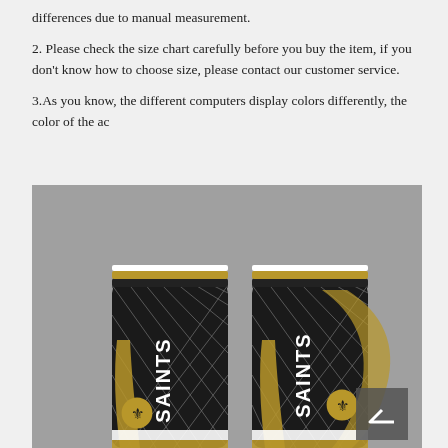differences due to manual measurement.
2. Please check the size chart carefully before you buy the item, if you don't know how to choose size, please contact our customer service.
3.As you know, the different computers display colors differently,  the color of the ac
[Figure (photo): Photo of New Orleans Saints-themed leggings worn on legs, shown from front and back. The leggings are black with gold and white accents, featuring a diamond/fishnet pattern, the SAINTS wordmark in white, and the Saints fleur-de-lis logo. The background is gray.]